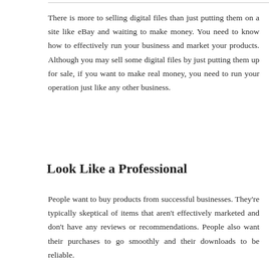There is more to selling digital files than just putting them on a site like eBay and waiting to make money. You need to know how to effectively run your business and market your products. Although you may sell some digital files by just putting them up for sale, if you want to make real money, you need to run your operation just like any other business.
Look Like a Professional
People want to buy products from successful businesses. They're typically skeptical of items that aren't effectively marketed and don't have any reviews or recommendations. People also want their purchases to go smoothly and their downloads to be reliable.